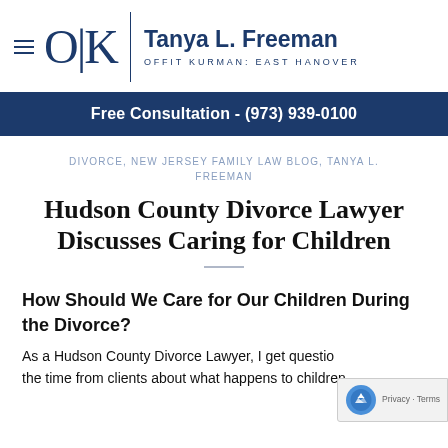O|K  Tanya L. Freeman  OFFIT KURMAN: EAST HANOVER
Free Consultation - (973) 939-0100
DIVORCE, NEW JERSEY FAMILY LAW BLOG, TANYA L. FREEMAN
Hudson County Divorce Lawyer Discusses Caring for Children
How Should We Care for Our Children During the Divorce?
As a Hudson County Divorce Lawyer, I get questio the time from clients about what happens to children